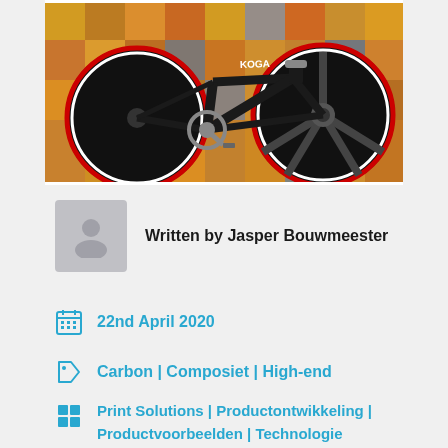[Figure (photo): A black KOGA track bicycle (fixie/velodrome bike) with disc wheel on the left and 5-spoke wheel on the right, photographed against a colorful mosaic background in oranges, yellows, and blues.]
Written by Jasper Bouwmeester
22nd April 2020
Carbon | Composiet | High-end
Print Solutions | Productontwikkeling | Productvoorbeelden | Technologie